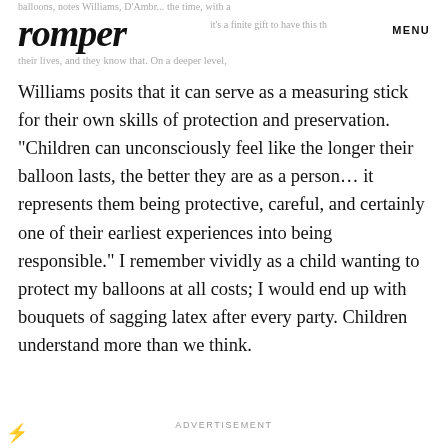romper  MENU
Williams posits that it can serve as a measuring stick for their own skills of protection and preservation. "Children can unconsciously feel like the longer their balloon lasts, the better they are as a person... it represents them being protective, careful, and certainly one of their earliest experiences into being responsible." I remember vividly as a child wanting to protect my balloons at all costs; I would end up with bouquets of sagging latex after every party. Children understand more than we think.
ADVERTISEMENT